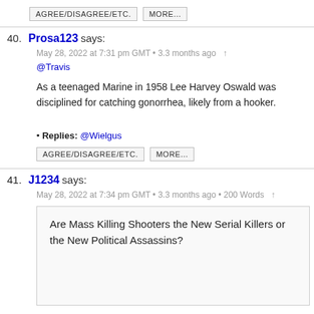AGREE/DISAGREE/ETC.   MORE...
40. Prosa123 says:
May 28, 2022 at 7:31 pm GMT • 3.3 months ago ↑
@Travis

As a teenaged Marine in 1958 Lee Harvey Oswald was disciplined for catching gonorrhea, likely from a hooker.

• Replies: @Wielgus
AGREE/DISAGREE/ETC.   MORE...
41. J1234 says:
May 28, 2022 at 7:34 pm GMT • 3.3 months ago • 200 Words ↑
Are Mass Killing Shooters the New Serial Killers or the New Political Assassins?